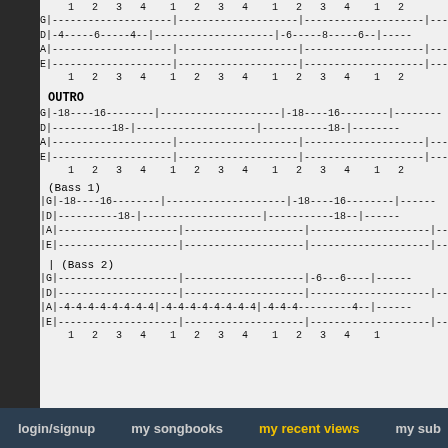Beat row: 1 2 3 4  1 2 3 4  1 2 3 4  1
G|--------------------|--------------------|--------------------|-
D|-4-----6-----4--|--------------------|-6-----8-----6--|-
A|--------------------|--------------------|--------------------|--
E|--------------------|--------------------|--------------------|--
Beat row: 1 2 3 4  1 2 3 4  1 2 3 4  1
OUTRO
G|-18----16--------|--------------------|-18----16--------|--
D|----------18-|--------------------|-----------18-|--
A|--------------------|--------------------|--------------------|--
E|--------------------|--------------------|--------------------|--
Beat row: 1 2 3 4  1 2 3 4  1 2 3 4  1
(Bass 1)
|G|-18----16--------|--------------------|-18----16--------|--
|D|----------18-|--------------------|-----------18--|--
|A|--------------------|--------------------|--------------------|--
|E|--------------------|--------------------|--------------------|--
(Bass 2)
|G|--------------------|--------------------|-6---6----|--
|D|--------------------|--------------------|--------------------|--
|A|-4-4-4-4-4-4-4-4|-4-4-4-4-4-4-4-4|-4-4-4---------4--|--
|E|--------------------|--------------------|--------------------|--
Beat row: 1 2 3 4  1 2 3 4  1 2 3 4  1
login/signup   my songbooks   my recent views   my sub